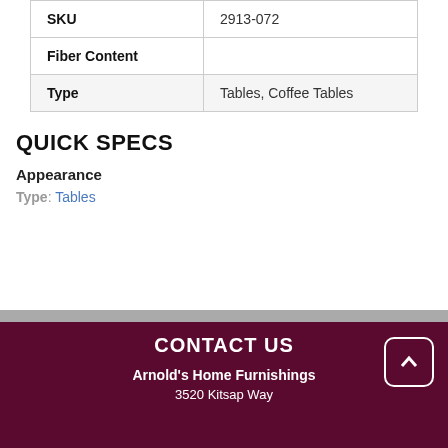| SKU | 2913-072 |
| Fiber Content |  |
| Type | Tables, Coffee Tables |
QUICK SPECS
Appearance
Type: Tables
CONTACT US
Arnold's Home Furnishings
3520 Kitsap Way